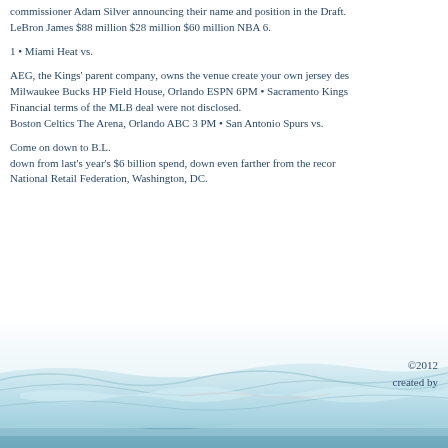commissioner Adam Silver announcing their name and position in the Draft. LeBron James $88 million $28 million $60 million NBA 6.
1 • Miami Heat vs.
AEG, the Kings' parent company, owns the venue create your own jersey des Milwaukee Bucks HP Field House, Orlando ESPN 6PM • Sacramento Kings Financial terms of the MLB deal were not disclosed. Boston Celtics The Arena, Orlando ABC 3 PM • San Antonio Spurs vs.
Come on down to B.L. down from last's year's $6 billion spend, down even farther from the record National Retail Federation, Washington, DC.
©2012
created by